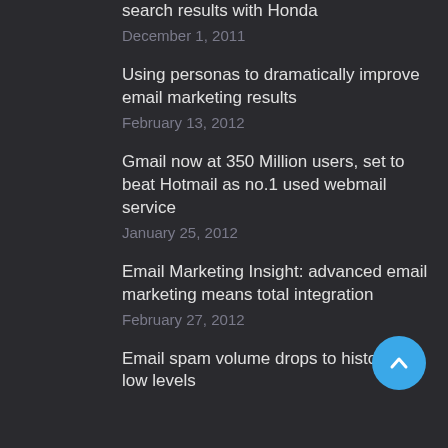search results with Honda
December 1, 2011
Using personas to dramatically improve email marketing results
February 13, 2012
Gmail now at 350 Million users, set to beat Hotmail as no.1 used webmail service
January 25, 2012
Email Marketing Insight: advanced email marketing means total integration
February 27, 2012
Email spam volume drops to historically low levels